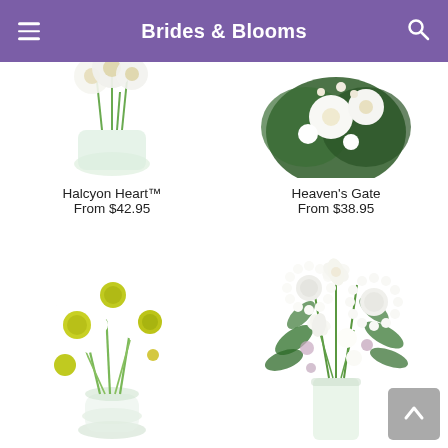Brides & Blooms
[Figure (photo): Partial view of Halcyon Heart flower arrangement in glass vase with green stems, white and yellow flowers, cropped at top]
Halcyon Heart™
From $42.95
[Figure (photo): Partial view of Heaven's Gate flower arrangement with white flowers and green leaves, cropped at top]
Heaven's Gate
From $38.95
[Figure (photo): Daisy arrangement with white daisies and yellow centers in a round clear glass vase, with small yellow accent flowers]
Perfect Blooming™ (partial, cut off at bottom)
[Figure (photo): White flower arrangement with chrysanthemums, lilies, and greenery in a tall clear glass vase]
Sweet Elegance™ (partial, cut off at bottom)